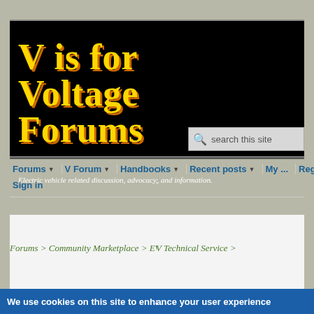[Figure (logo): V is for Voltage Forums logo — large stylized yellow/gold text on black background with orange drop shadow]
Electric vehicle related discussion, advocacy, and information.
Forums | V Forum | Handbooks | Recent posts | My ... | Register | Sign in
Forums > Community Marketplace > EV Technical Service >
We use cookies on this site to enhance your user experience